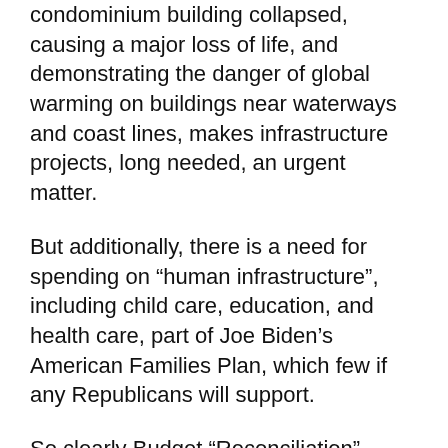condominium building collapsed, causing a major loss of life, and demonstrating the danger of global warming on buildings near waterways and coast lines, makes infrastructure projects, long needed, an urgent matter.
But additionally, there is a need for spending on “human infrastructure”, including child care, education, and health care, part of Joe Biden’s American Families Plan, which few if any Republicans will support.
So clearly Budget “Reconciliation”, where the 50 Democratic Senators plus Vice President Kamala Harris together will be enough to pass such larger spending priorities.
Certainly, the bipartisan deal is essential, but the Human “Infrastructure” in some form of